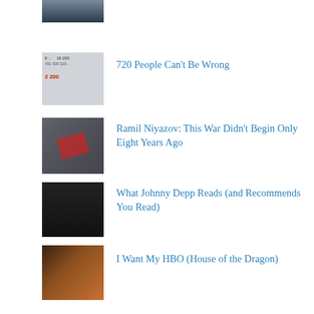[Figure (photo): Thumbnail image of two people, partially visible at top]
720 People Can't Be Wrong
[Figure (screenshot): Thumbnail showing statistics/numbers including 18295, 781 500, 529, 2 200]
Ramil Niyazov: This War Didn't Begin Only Eight Years Ago
[Figure (photo): Thumbnail of protest or war scene]
What Johnny Depp Reads (and Recommends You Read)
[Figure (screenshot): Thumbnail of dark interface]
I Want My HBO (House of the Dragon)
[Figure (photo): Thumbnail of person with orange/fire tones]
The Two-State Solution (Racism and the Russian Intelligentsia)
[Figure (photo): Dark circular image]
Imploding Golden Billions
[Figure (screenshot): Thumbnail of article/webpage with person photo]
Valery Pshenichny: Tortured, Then Murdered
[Figure (photo): Thumbnail of person (woman)]
Buryats and the "Russian World"
[Figure (photo): Thumbnail of person with scarf]